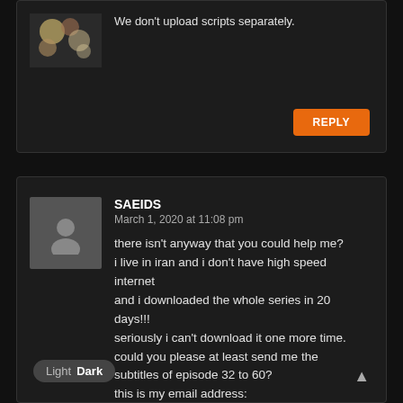We don't upload scripts separately.
REPLY
SAEIDS
March 1, 2020 at 11:08 pm
there isn't anyway that you could help me? i live in iran and i don't have high speed internet
and i downloaded the whole series in 20 days!!!
seriously i can't download it one more time. could you please at least send me the subtitles of episode 32 to 60?
this is my email address:
[hidden]
i would be appreciated if you do this and